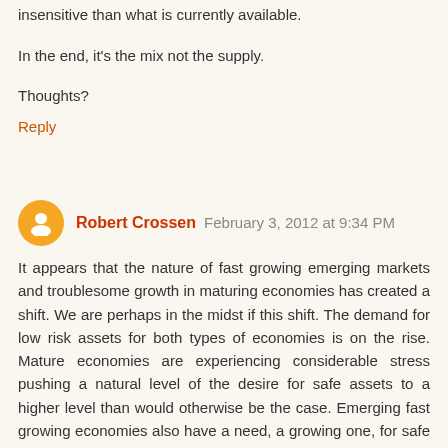insensitive than what is currently available.
In the end, it's the mix not the supply.
Thoughts?
Reply
Robert Crossen February 3, 2012 at 9:34 PM
It appears that the nature of fast growing emerging markets and troublesome growth in maturing economies has created a shift. We are perhaps in the midst if this shift. The demand for low risk assets for both types of economies is on the rise. Mature economies are experiencing considerable stress pushing a natural level of the desire for safe assets to a higher level than would otherwise be the case. Emerging fast growing economies also have a need, a growing one, for safe assets (Everything can't be high risk. Some safety is naturally desired). At the same time, emerging fast growth economies are probably much larger, and creating an increasingly greater demand for safe assets, than in those